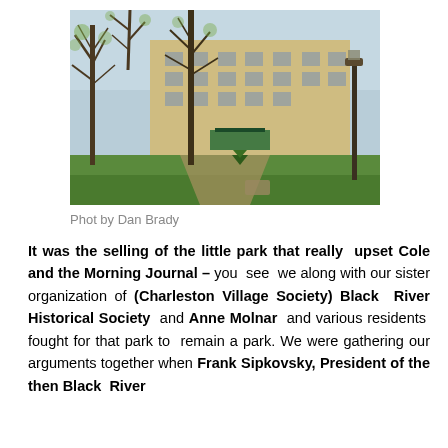[Figure (photo): Outdoor photograph of a large yellow/tan multi-story building visible through bare trees in early spring, with green grass and a pathway in the foreground. A decorative lamppost is visible on the right side.]
Phot by Dan Brady
It was the selling of the little park that really upset Cole and the Morning Journal – you see we along with our sister organization of (Charleston Village Society) Black River Historical Society and Anne Molnar and various residents fought for that park to remain a park. We were gathering our arguments together when Frank Sipkovsky, President of the then Black River